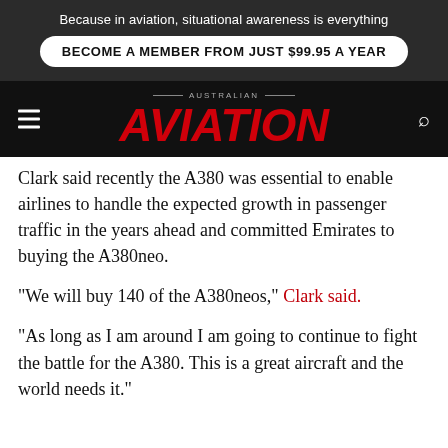Because in aviation, situational awareness is everything
BECOME A MEMBER FROM JUST $99.95 A YEAR
AUSTRALIAN AVIATION
Clark said recently the A380 was essential to enable airlines to handle the expected growth in passenger traffic in the years ahead and committed Emirates to buying the A380neo.
“We will buy 140 of the A380neos,” Clark said.
“As long as I am around I am going to continue to fight the battle for the A380. This is a great aircraft and the world needs it.”